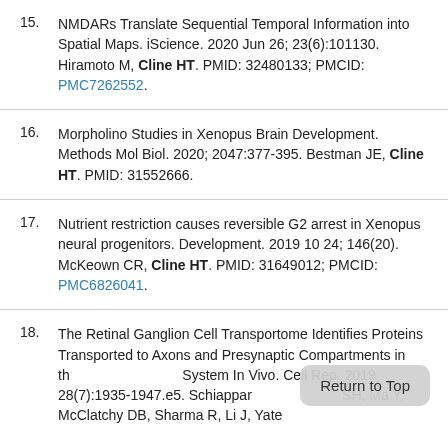15. NMDARs Translate Sequential Temporal Information into Spatial Maps. iScience. 2020 Jun 26; 23(6):101130. Hiramoto M, Cline HT. PMID: 32480133; PMCID: PMC7262552.
16. Morpholino Studies in Xenopus Brain Development. Methods Mol Biol. 2020; 2047:377-395. Bestman JE, Cline HT. PMID: 31552666.
17. Nutrient restriction causes reversible G2 arrest in Xenopus neural progenitors. Development. 2019 10 24; 146(20). McKeown CR, Cline HT. PMID: 31649012; PMCID: PMC6826041.
18. The Retinal Ganglion Cell Transportome Identifies Proteins Transported to Axons and Presynaptic Compartments in the Xenopus Visual System In Vivo. Cell Rep. 2019 Aug 13; 28(7):1935-1947.e5. Schiaparemi LM, Shah SH, Ma Y, McClatchy DB, Sharma R, Li J, Yates...